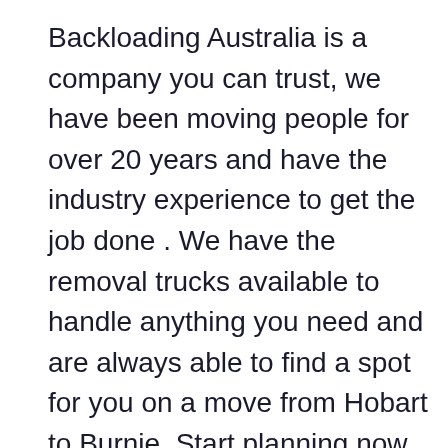Backloading Australia is a company you can trust, we have been moving people for over 20 years and have the industry experience to get the job done . We have the removal trucks available to handle anything you need and are always able to find a spot for you on a move from Hobart to Burnie. Start planning now and secure yourself a quality removalist company and plan a stress free move. So get yourself a quote!click here for a backloading quote